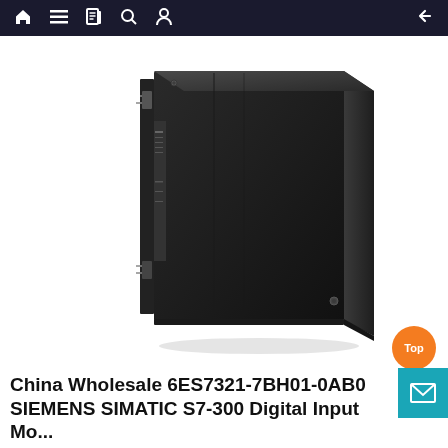Navigation bar with home, menu, book, search, profile icons and back arrow
[Figure (photo): Siemens SIMATIC S7-300 digital input module 6ES7321-7BH01-0AB0 — a black rectangular PLC module shown in a perspective/isometric view against a white background]
China Wholesale 6ES7321-7BH01-0AB0 SIEMENS SIMATIC S7-300 Digital Input Mo...